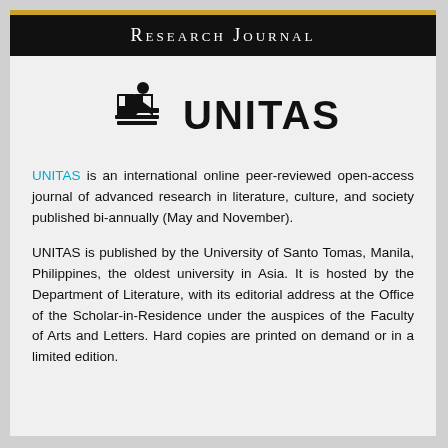Research Journal
[Figure (logo): UNITAS logo: stylized book/person icon on left with word UNITAS in bold black text on right]
UNITAS is an international online peer-reviewed open-access journal of advanced research in literature, culture, and society published bi-annually (May and November).
UNITAS is published by the University of Santo Tomas, Manila, Philippines, the oldest university in Asia. It is hosted by the Department of Literature, with its editorial address at the Office of the Scholar-in-Residence under the auspices of the Faculty of Arts and Letters. Hard copies are printed on demand or in a limited edition.